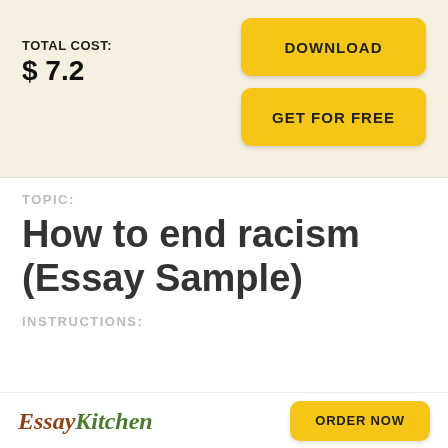TOTAL COST: $ 7.2
DOWNLOAD
GET FOR FREE
TOPIC:
How to end racism (Essay Sample)
INSTRUCTIONS:
EssayKitchen  ORDER NOW